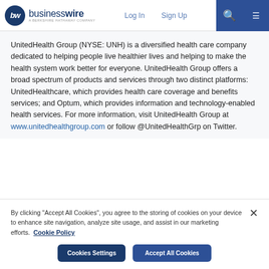businesswire — A BERKSHIRE HATHAWAY COMPANY | Log In | Sign Up
UnitedHealth Group (NYSE: UNH) is a diversified health care company dedicated to helping people live healthier lives and helping to make the health system work better for everyone. UnitedHealth Group offers a broad spectrum of products and services through two distinct platforms: UnitedHealthcare, which provides health care coverage and benefits services; and Optum, which provides information and technology-enabled health services. For more information, visit UnitedHealth Group at www.unitedhealthgroup.com or follow @UnitedHealthGrp on Twitter.
By clicking "Accept All Cookies", you agree to the storing of cookies on your device to enhance site navigation, analyze site usage, and assist in our marketing efforts. Cookie Policy
Cookies Settings | Accept All Cookies